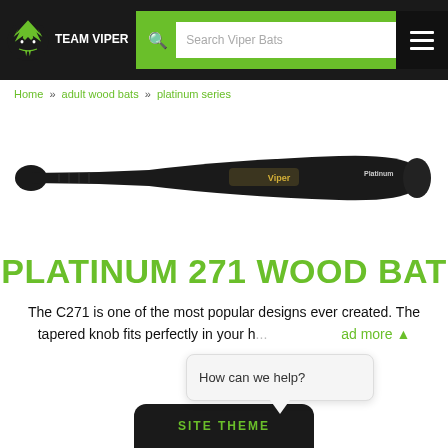TEAM VIPER — Search Viper Bats
Home » adult wood bats » platinum series
[Figure (photo): Black baseball bat (Platinum series) on white background, shown horizontally with knob on left and barrel on right. Viper branding visible on barrel.]
PLATINUM 271 WOOD BAT
The C271 is one of the most popular designs ever created. The tapered knob fits perfectly in your h... read more ↑
How can we help?
SITE THEME